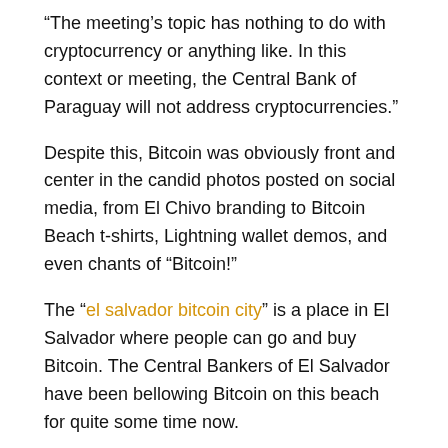“The meeting’s topic has nothing to do with cryptocurrency or anything like. In this context or meeting, the Central Bank of Paraguay will not address cryptocurrencies.”
Despite this, Bitcoin was obviously front and center in the candid photos posted on social media, from El Chivo branding to Bitcoin Beach t-shirts, Lightning wallet demos, and even chants of “Bitcoin!”
The “el salvador bitcoin city” is a place in El Salvador where people can go and buy Bitcoin. The Central Bankers of El Salvador have been bellowing Bitcoin on this beach for quite some time now.
Related Tags
bitcoin law el salvador pdf